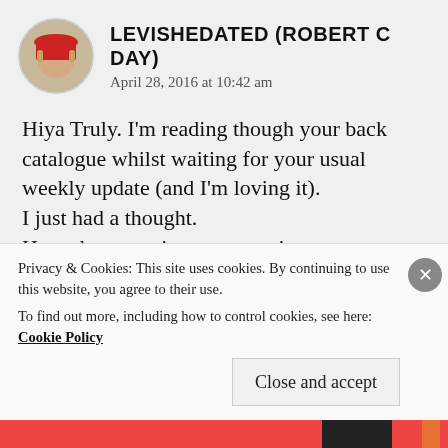LEVISHEDATED (ROBERT C DAY)
April 28, 2016 at 10:42 am
Hiya Truly. I'm reading though your back catalogue whilst waiting for your usual weekly update (and I'm loving it).
I just had a thought.
How about posting an executive summary at the start of each piece. You could write the piece then go back and copy out the take away points and pop them in a summary at the start.
It would help with the coherence of your work to do
Privacy & Cookies: This site uses cookies. By continuing to use this website, you agree to their use.
To find out more, including how to control cookies, see here: Cookie Policy
Close and accept